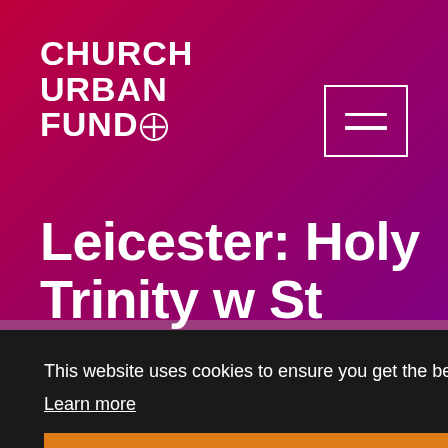[Figure (logo): Church Urban Fund logo with cross symbol in white text on crimson/magenta gradient background]
Leicester: Holy Trinity w St John
This website uses cookies to ensure you get the best experience on our website. Learn more
Got it!